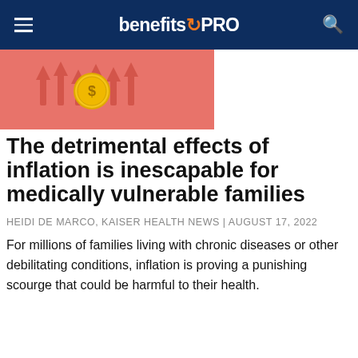benefitsPRO
[Figure (illustration): Illustration of a gold dollar coin with upward arrows on a salmon/coral pink background, suggesting rising costs or inflation.]
The detrimental effects of inflation is inescapable for medically vulnerable families
HEIDI DE MARCO, KAISER HEALTH NEWS | AUGUST 17, 2022
For millions of families living with chronic diseases or other debilitating conditions, inflation is proving a punishing scourge that could be harmful to their health.